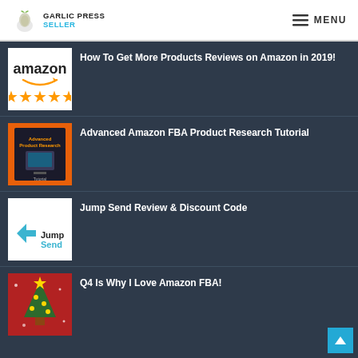GARLIC PRESS SELLER — MENU
How To Get More Products Reviews on Amazon in 2019!
Advanced Amazon FBA Product Research Tutorial
Jump Send Review & Discount Code
Q4 Is Why I Love Amazon FBA!